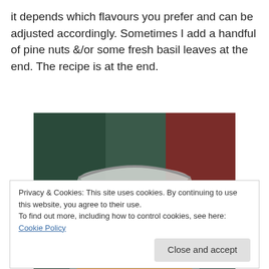it depends which flavours you prefer and can be adjusted accordingly. Sometimes I add a handful of pine nuts &/or some fresh basil leaves at the end. The recipe is at the end.
[Figure (photo): A glass jar with a clip-top lid filled with couscous or a crumbly grain-based dish, sitting on a dark green surface with a reddish background object behind it.]
Privacy & Cookies: This site uses cookies. By continuing to use this website, you agree to their use.
To find out more, including how to control cookies, see here: Cookie Policy
pizza, roll it up and then cut into slices and bake in the